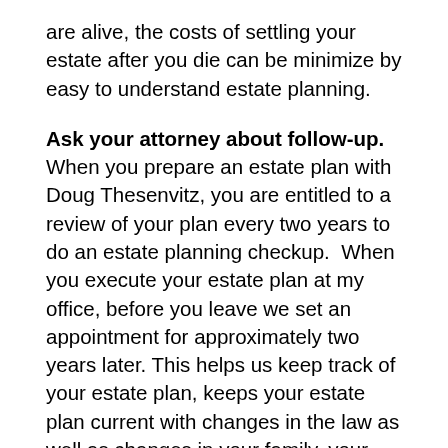are alive, the costs of settling your estate after you die can be minimize by easy to understand estate planning.
Ask your attorney about follow-up. When you prepare an estate plan with Doug Thesenvitz, you are entitled to a review of your plan every two years to do an estate planning checkup.  When you execute your estate plan at my office, before you leave we set an appointment for approximately two years later. This helps us keep track of your estate plan, keeps your estate plan current with changes in the law as well as changes in your family, your goals and your assets. It also helps maintain our relationship Estate plans only work if the planning is up to date.  Up to date estate plans save money on probate and administration